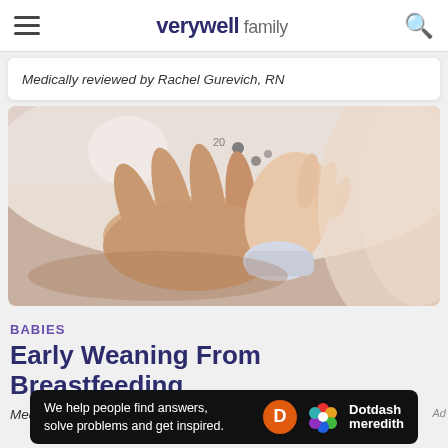verywell family
Medically reviewed by Rachel Gurevich, RN
[Figure (photo): Close-up photo of a baby's hand touching near a breast, related to breastfeeding]
BABIES
Early Weaning From Breastfeeding
Medically reviewed by Meredith Shur, MD
[Figure (other): Dotdash Meredith advertisement banner: 'We help people find answers, solve problems and get inspired.']